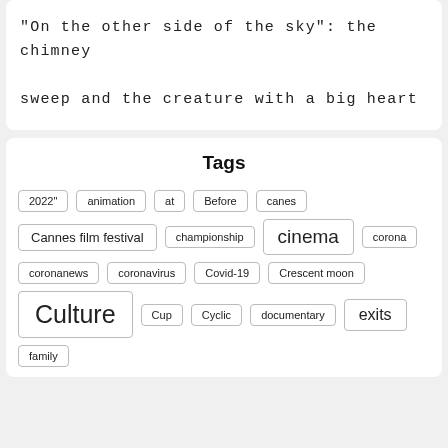“On the other side of the sky”: the chimney sweep and the creature with a big heart
Tags
2022"
animation
at
Before
canes
Cannes film festival
championship
cinema
corona
coronanews
coronavirus
Covid-19
Crescent moon
Culture
Cup
Cyclic
documentary
exits
family